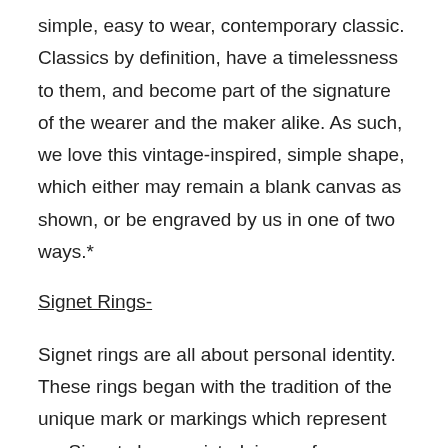simple, easy to wear, contemporary classic. Classics by definition, have a timelessness to them, and become part of the signature of the wearer and the maker alike. As such, we love this vintage-inspired, simple shape, which either may remain a blank canvas as shown, or be engraved by us in one of two ways.*
Signet Rings-
Signet rings are all about personal identity. These rings began with the tradition of the unique mark or markings which represent us. Signets have existed, in one form or another, as long as humans have been communicating in written form. Early signets were carved from stone, and could be imprinted or pressed into a document and for centuries were the most important form of legal